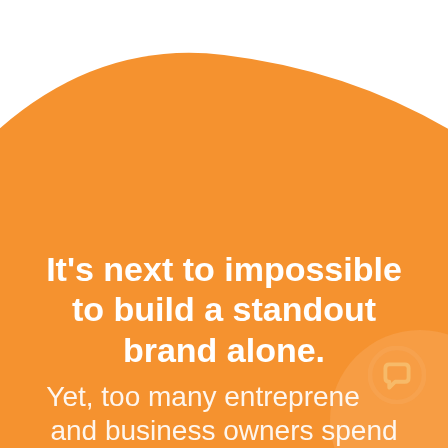[Figure (illustration): Large orange rounded rectangle shape filling most of the page from the top, with a curved bottom edge near the top of the page creating a wave-like cutout of white space at the top.]
It's next to impossible to build a standout brand alone.
Yet, too many entrepreneurs and business owners spend